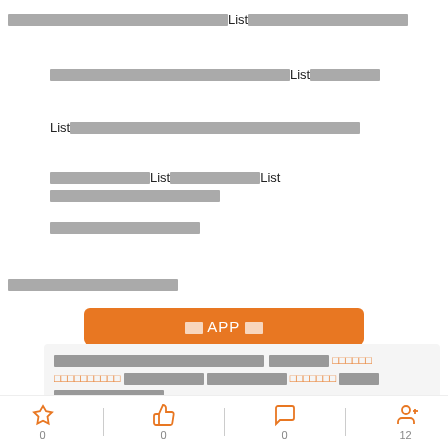□□□□□□□□□□□□□□□□□□□□□□□□List□□□□□□□□□□□□□□□□□□□□□□
□□□□□□□□□□□□□□□□□□□□□□□□□□□□□□□□List□□□□□□□□
List□□□□□□□□□□□□□□□□□□□□□□□□□□□□□□□□□□□□
□□□□□□□□□□□□□List□□□□□□□□□□□□□□List□□□□□□□□□□□□□□□□□□□□□□□□□□
□□□□□□□□□□□□□□□□
□□□□□□□□□□□□□□□□
□□□APP□□□
□□□□□□□□□□□□□□□□□□□□□□□□□□□□□□□□□□□□□□□□□□□□□□□□□□□□□□□□□□□□□□□□□□□□□□□□□□□□□□□□□□□□□□□□□□□□□□□□□□□□□□□□□□□□□□□□□□□□□□□□□□□□□□□□□□□□□□□□□□□□□□□□□□□□□□□□□□□□□□□□□□□□□□□□□□□□□
0
0
0
12